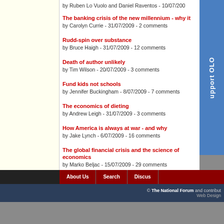by Ruben Lo Vuolo and Daniel Raventos - 10/07/2009
The banking crisis of the new millennium - why it
by Carolyn Currie - 31/07/2009 - 2 comments
Rudd-spin over substance
by Bruce Haigh - 31/07/2009 - 12 comments
Death of author unlikely
by Tim Wilson - 20/07/2009 - 3 comments
Fund kids not schools
by Jennifer Buckingham - 8/07/2009 - 7 comments
The economics of dieting
by Andrew Leigh - 31/07/2009 - 3 comments
How America is always at war - and why
by Jake Lynch - 6/07/2009 - 16 comments
The global financial crisis and the science of economics
by Marko Beljac - 15/07/2009 - 29 comments
Advertisement
About Us   Search   Discus
© The National Forum and contribut
Web Design